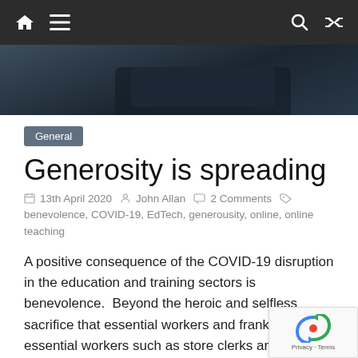Navigation bar with home, menu, search, and shuffle icons
[Figure (photo): Dark banner image with tablet/device partially visible against dark background]
General
Generosity is spreading
13th April 2020   John Allan   2 Comments
benevolence, COVID-19, EdTech, generousity, online, online teaching
A positive consequence of the COVID-19 disruption in the education and training sectors is benevolence.  Beyond the heroic and selfless sacrifice that essential workers and frankly non-essential workers such as store clerks and maintenance caretakers are performing to keep societies safe, educators are exhibiting an unprecedented level of generosity and cooperation